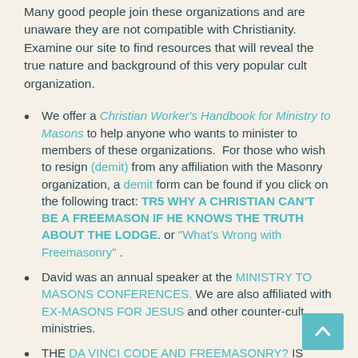Many good people join these organizations and are unaware they are not compatible with Christianity. Examine our site to find resources that will reveal the true nature and background of this very popular cult organization.
We offer a Christian Worker's Handbook for Ministry to Masons to help anyone who wants to minister to members of these organizations.  For those who wish to resign (demit) from any affiliation with the Masonry organization, a demit form can be found if you click on the following tract: TR5 WHY A CHRISTIAN CAN'T BE A FREEMASON IF HE KNOWS THE TRUTH ABOUT THE LODGE. or "What's Wrong with Freemasonry" .
David was an annual speaker at the MINISTRY TO MASONS CONFERENCES. We are also affiliated with EX-MASONS FOR JESUS and other counter-cult ministries.
THE DA VINCI CODE AND FREEMASONRY? IS